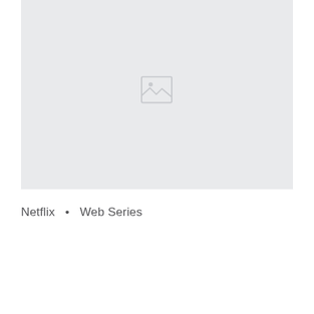[Figure (other): Placeholder image box with broken image icon, light gray background]
Netflix  •  Web Series